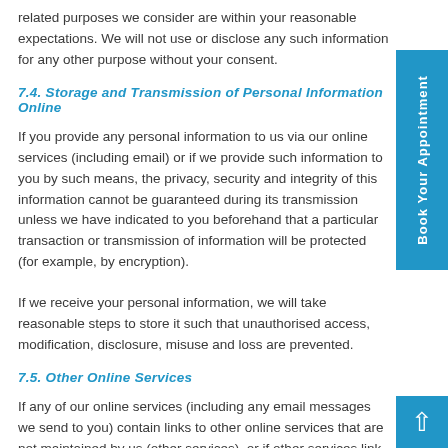related purposes we consider are within your reasonable expectations. We will not use or disclose any such information for any other purpose without your consent.
7.4. Storage and Transmission of Personal Information Online
If you provide any personal information to us via our online services (including email) or if we provide such information to you by such means, the privacy, security and integrity of this information cannot be guaranteed during its transmission unless we have indicated to you beforehand that a particular transaction or transmission of information will be protected (for example, by encryption).
If we receive your personal information, we will take reasonable steps to store it such that unauthorised access, modification, disclosure, misuse and loss are prevented.
7.5. Other Online Services
If any of our online services (including any email messages we send to you) contain links to other online services that are not maintained by us (other services), or if other services link to our online services, we are not responsible for the privacy practices of the organisations that operate those other services, and by